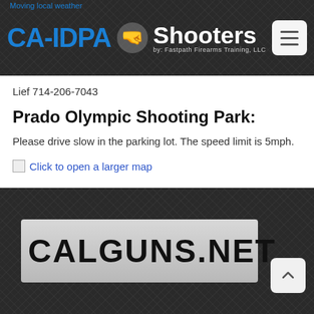CA-IDPA Shooters by: Fastpath Firearms Training, LLC
Lief 714-206-7043
Prado Olympic Shooting Park:
Please drive slow in the parking lot. The speed limit is 5mph.
Click to open a larger map
[Figure (screenshot): CALGUNS.NET banner logo on dark carbon-fiber textured background with back-to-top button]